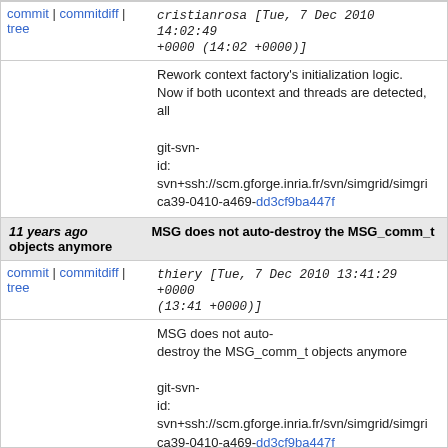commit | commitdiff | tree   cristianrosa [Tue, 7 Dec 2010 14:02:49 +0000 (14:02 +0000)]
Rework context factory's initialization logic.
Now if both ucontext and threads are detected, all

git-svn-id: svn+ssh://scm.gforge.inria.fr/svn/simgrid/simgrid...ca39-0410-a469-dd3cf9ba447f
11 years ago    MSG does not auto-destroy the MSG_comm_t objects anymore
commit | commitdiff | tree   thiery [Tue, 7 Dec 2010 13:41:29 +0000 (13:41 +0000)]
MSG does not auto-destroy the MSG_comm_t objects anymore

git-svn-id: svn+ssh://scm.gforge.inria.fr/svn/simgrid/simgrid...ca39-0410-a469-dd3cf9ba447f
11 years ago    Another useless and leaky xbt_strdup
commit | commitdiff | tree   thiery [Tue, 7 Dec 2010 13:23:36 +0000 (13:23 +0000)]
Another useless and leaky xbt_strdup